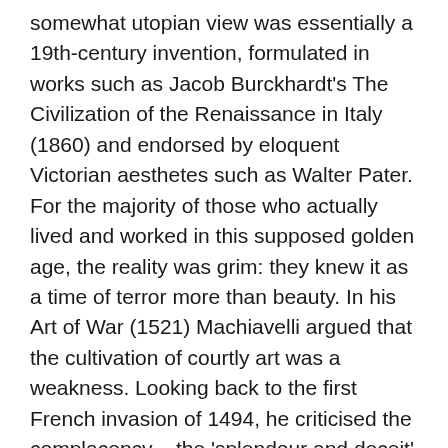somewhat utopian view was essentially a 19th-century invention, formulated in works such as Jacob Burckhardt's The Civilization of the Renaissance in Italy (1860) and endorsed by eloquent Victorian aesthetes such as Walter Pater. For the majority of those who actually lived and worked in this supposed golden age, the reality was grim: they knew it as a time of terror more than beauty. In his Art of War (1521) Machiavelli argued that the cultivation of courtly art was a weakness. Looking back to the first French invasion of 1494, he criticised the complacency – the 'splendour and deceit' – of the Italian princes. 'They were preparing themselves to be the prey of whoever assaulted them,' he wrote, and from this arose 'great terrors, sudden flights and miraculous losses'.
Burckhardt's idealistic view of the Renaissance has long